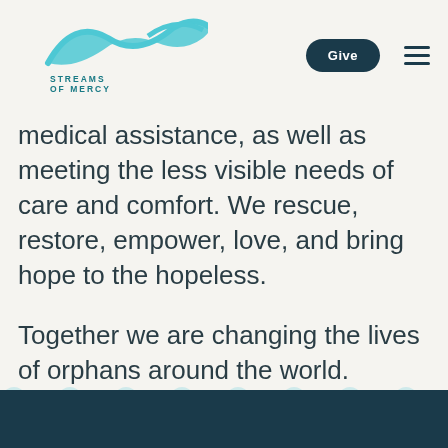[Figure (logo): Streams of Mercy logo with teal wave graphic and text 'STREAMS OF MERCY' below]
medical assistance, as well as meeting the less visible needs of care and comfort. We rescue, restore, empower, love, and bring hope to the hopeless.
Together we are changing the lives of orphans around the world.
[Figure (illustration): Teal wavy decorative wave pattern at bottom of page above dark teal footer bar]